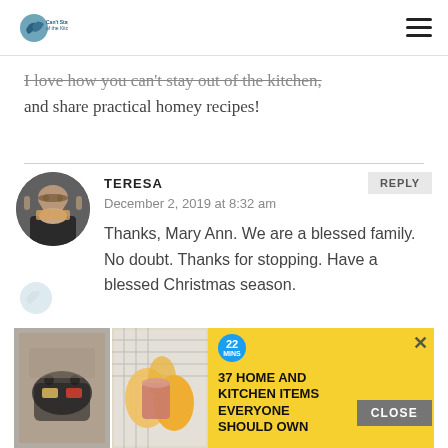Can't Stay Out of the Kitchen [logo] [hamburger menu]
I love how you can't stay out of the kitchen, and share practical homey recipes!
TERESA
December 2, 2019 at 8:32 am
Thanks, Mary Ann. We are a blessed family. No doubt. Thanks for stopping. Have a blessed Christmas season.
[Figure (other): Advertisement banner: yellow background with food images and text '37 HOME AND KITCHEN ITEMS EVERYONE SHOULD OWN', with blue badge showing '22' and a close X button]